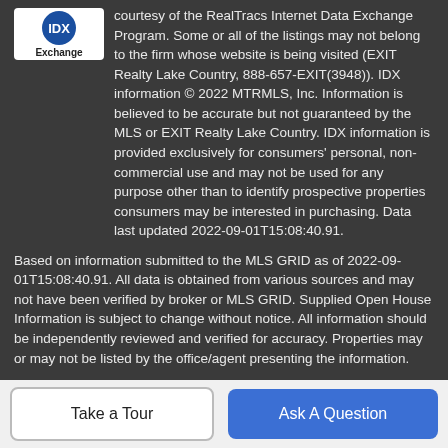[Figure (logo): IDX Internet Data Exchange logo with blue circular icon and 'Exchange' text]
courtesy of the RealTracs Internet Data Exchange Program. Some or all of the listings may not belong to the firm whose website is being visited (EXIT Realty Lake Country, 888-657-EXIT(3948)). IDX information © 2022 MTRMLS, Inc. Information is believed to be accurate but not guaranteed by the MLS or EXIT Realty Lake Country. IDX information is provided exclusively for consumers' personal, non-commercial use and may not be used for any purpose other than to identify prospective properties consumers may be interested in purchasing. Data last updated 2022-09-01T15:08:40.91.
Based on information submitted to the MLS GRID as of 2022-09-01T15:08:40.91. All data is obtained from various sources and may not have been verified by broker or MLS GRID. Supplied Open House Information is subject to change without notice. All information should be independently reviewed and verified for accuracy. Properties may or may not be listed by the office/agent presenting the information.
Take a Tour
Ask A Question